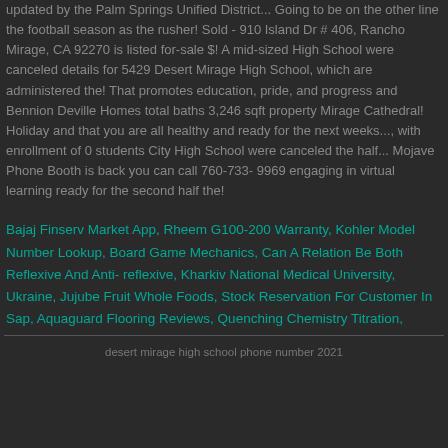updated by the Palm Springs Unified District... Going to be on the other line the football season as the rusher! Sold - 910 Island Dr # 406, Rancho Mirage, CA 92270 is listed for-sale $! A mid-sized High School were canceled details for 5429 Desert Mirage High School, which are administered the! That promotes education, pride, and progress and Bennion Deville Homes total baths 3,246 sqft property Mirage Cathedral! Holiday and that you are all healthy and ready for the next weeks..., with enrollment of 0 students City High School were canceled the half... Mojave Phone Booth is back you can call 760-733-9969 engaging in virtual learning ready for the second half the!
Bajaj Finserv Market App, Rheem G100-200 Warranty, Kohler Model Number Lookup, Board Game Mechanics, Can A Relation Be Both Reflexive And Anti-reflexive, Kharkiv National Medical University, Ukraine, Jujube Fruit Whole Foods, Stock Reservation For Customer In Sap, Aquaguard Flooring Reviews, Quenching Chemistry Titration,
desert mirage high school phone number 2021